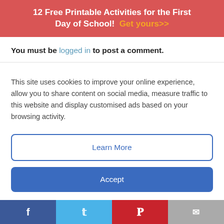12 Free Printable Activities for the First Day of School! Get yours>>
You must be logged in to post a comment.
This site uses cookies to improve your online experience, allow you to share content on social media, measure traffic to this website and display customised ads based on your browsing activity.
Learn More
Accept
[Figure (photo): Aerial or outdoor view of a college campus with green grounds, partially visible image section showing article thumbnail]
15 Virtual College Campus Tours to E
Facebook | Twitter | Pinterest | Email social share bar